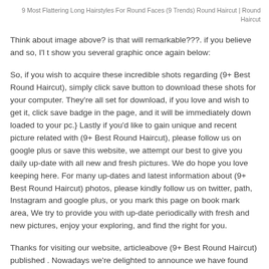9 Most Flattering Long Hairstyles For Round Faces (9 Trends) Round Haircut | Round Haircut
Think about image above? is that will remarkable???. if you believe and so, I'l t show you several graphic once again below:
So, if you wish to acquire these incredible shots regarding (9+ Best Round Haircut), simply click save button to download these shots for your computer. They're all set for download, if you love and wish to get it, click save badge in the page, and it will be immediately down loaded to your pc.} Lastly if you'd like to gain unique and recent picture related with (9+ Best Round Haircut), please follow us on google plus or save this website, we attempt our best to give you daily up-date with all new and fresh pictures. We do hope you love keeping here. For many up-dates and latest information about (9+ Best Round Haircut) photos, please kindly follow us on twitter, path, Instagram and google plus, or you mark this page on book mark area, We try to provide you with up-date periodically with fresh and new pictures, enjoy your exploring, and find the right for you.
Thanks for visiting our website, articleabove (9+ Best Round Haircut) published .  Nowadays we're delighted to announce we have found an awfully interesting topic to be pointed out, that is (9+ Best Round Haircut)